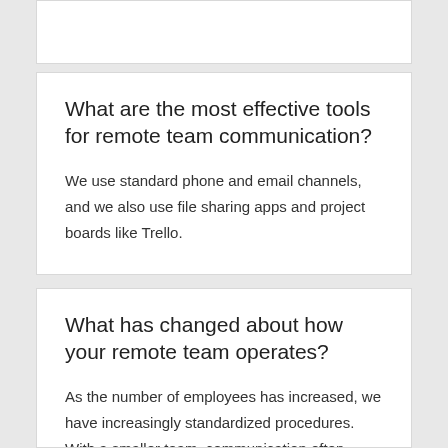What are the most effective tools for remote team communication?
We use standard phone and email channels, and we also use file sharing apps and project boards like Trello.
What has changed about how your remote team operates?
As the number of employees has increased, we have increasingly standardized procedures. With a smaller team, communication often occurs organically, but as the size of the team increases, we've introduced